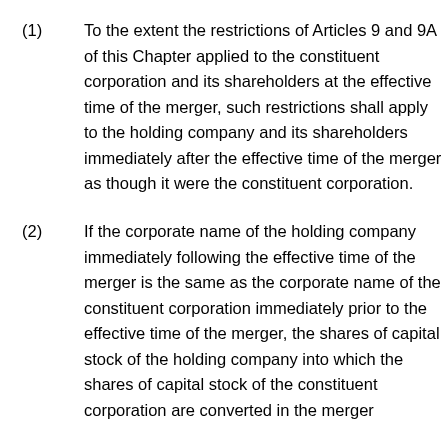(1) To the extent the restrictions of Articles 9 and 9A of this Chapter applied to the constituent corporation and its shareholders at the effective time of the merger, such restrictions shall apply to the holding company and its shareholders immediately after the effective time of the merger as though it were the constituent corporation.
(2) If the corporate name of the holding company immediately following the effective time of the merger is the same as the corporate name of the constituent corporation immediately prior to the effective time of the merger, the shares of capital stock of the holding company into which the shares of capital stock of the constituent corporation are converted in the merger